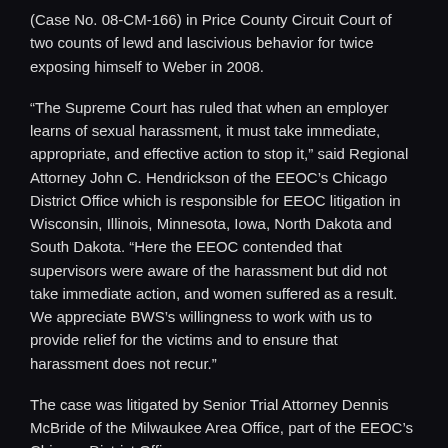(Case No. 08-CM-166) in Price County Circuit Court of two counts of lewd and lascivious behavior for twice exposing himself to Weber in 2008.
“The Supreme Court has ruled that when an employer learns of sexual harassment, it must take immediate, appropriate, and effective action to stop it,” said Regional Attorney John C. Hendrickson of the EEOC’s Chicago District Office which is responsible for EEOC litigation in Wisconsin, Illinois, Minnesota, Iowa, North Dakota and South Dakota. “Here the EEOC contended that supervisors were aware of the harassment but did not take immediate action, and women suffered as a result. We appreciate BWS’s willingness to work with us to provide relief for the victims and to ensure that harassment does not recur.”
The case was litigated by Senior Trial Attorney Dennis McBride of the Milwaukee Area Office, part of the EEOC’s Chicago District Office.